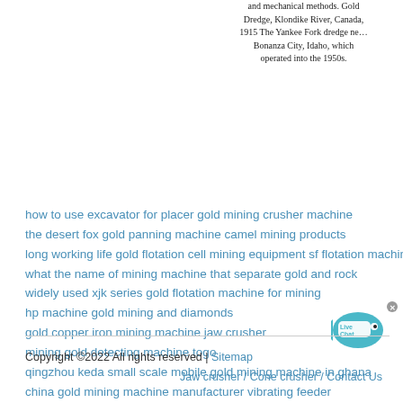and mechanical methods. Gold Dredge, Klondike River, Canada, 1915 The Yankee Fork dredge ne… Bonanza City, Idaho, which operated into the 1950s.
how to use excavator for placer gold mining crusher machine
the desert fox gold panning machine camel mining products
long working life gold flotation cell mining equipment sf flotation machine
what the name of mining machine that separate gold and rock
widely used xjk series gold flotation machine for mining
hp machine gold mining and diamonds
gold copper iron mining machine jaw crusher
mining gold detecting machine togo
qingzhou keda small scale mobile gold mining machine in ghana
china gold mining machine manufacturer vibrating feeder
[Figure (illustration): Live Chat button with fish icon]
Copyright ©2022 All rights reserved | Sitemap
Jaw crusher / Cone crusher / Contact Us